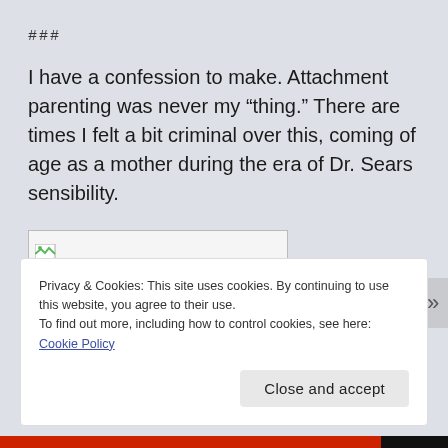###
I have a confession to make. Attachment parenting was never my “thing.” There are times I felt a bit criminal over this, coming of age as a mother during the era of Dr. Sears sensibility.
[Figure (other): Broken image placeholder box]
Privacy & Cookies: This site uses cookies. By continuing to use this website, you agree to their use.
To find out more, including how to control cookies, see here: Cookie Policy
Close and accept